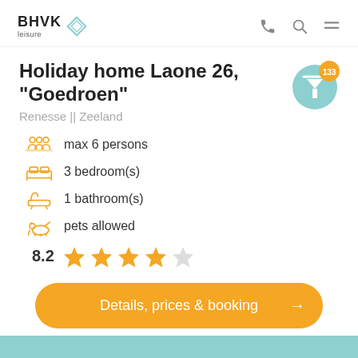BHVK leisure
Holiday home Laone 26, "Goedroen"
Renesse || Zeeland
max 6 persons
3 bedroom(s)
1 bathroom(s)
pets allowed
8.2
[Figure (infographic): Filter badge: teal circle with funnel icon and orange badge showing 133]
Details, prices & booking →